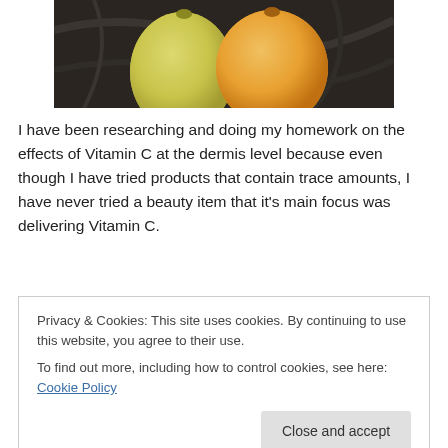[Figure (photo): Two citrus fruits (oranges or lemons) resting on a dark stone surface, partially visible at top of page]
I have been researching and doing my homework on the effects of Vitamin C at the dermis level because even though I have tried products that contain trace amounts, I have never tried a beauty item that it's main focus was delivering Vitamin C.
How does Vitamin C benefit your Skin...
Privacy & Cookies: This site uses cookies. By continuing to use this website, you agree to their use.
To find out more, including how to control cookies, see here: Cookie Policy
Vitamin C, also known as ascorbic acid, is a collagen